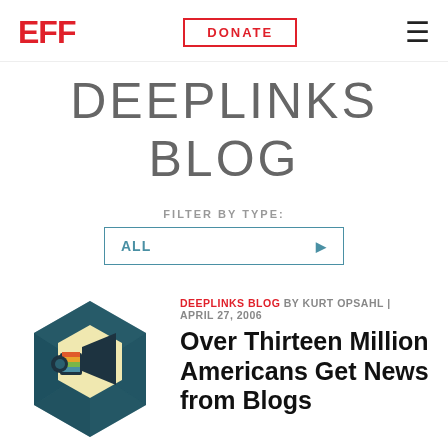EFF | DONATE
DEEPLINKS BLOG
FILTER BY TYPE:
ALL
[Figure (illustration): EFF Deeplinks Blog icon: a colorful megaphone on a hexagonal teal background with geometric triangle shapes]
DEEPLINKS BLOG BY KURT OPSAHL | APRIL 27, 2006
Over Thirteen Million Americans Get News from Blogs